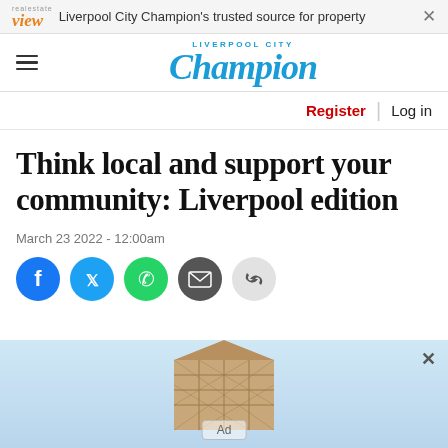Liverpool City Champion's trusted source for property
Liverpool City Champion
Register | Log in
Think local and support your community: Liverpool edition
March 23 2022 - 12:00am
[Figure (infographic): Social sharing icons: Facebook, Twitter, WhatsApp, Email, Link]
[Figure (photo): Advertisement banner with building/roof image and Ad label]